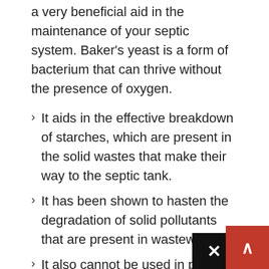a very beneficial aid in the maintenance of your septic system. Baker's yeast is a form of bacterium that can thrive without the presence of oxygen.
It aids in the effective breakdown of starches, which are present in the solid wastes that make their way to the septic tank.
It has been shown to hasten the degradation of solid pollutants that are present in wastewater.
It also cannot be used in place of pushing away accumulated muck to eradicate it.
It... (partially visible)